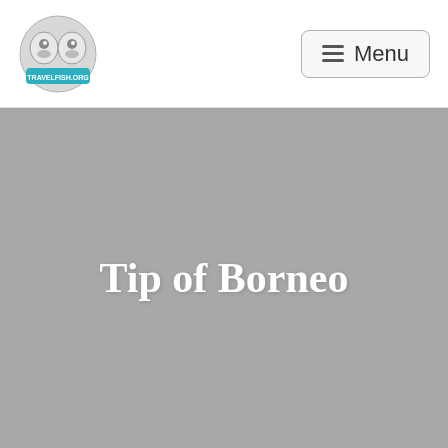Travelfish.org logo and Menu navigation
[Figure (logo): Travelfish.org circular logo with two fish faces and teal banner text at bottom]
Tip of Borneo
[Figure (photo): Gray placeholder hero image for Tip of Borneo page on travelfish.org]